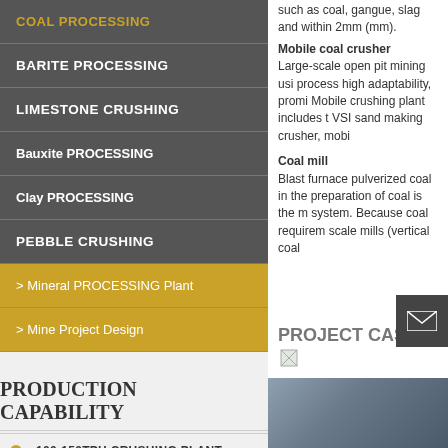COAL PROCESSING
BARITE PROCESSING
LIMESTONE CRUSHING
Bauxite PROCESSING
Clay PROCESSING
PEBBLE CRUSHING
> Mineral PROCESSING Plant
> Mine Project Design
PRODUCTION CAPABILITY
100-150TPH CRUSHING PLANT
120-180TPH FOR HARD STONE
such as coal, gangue, slag and within 2mm (mm).
Mobile coal crusher
Large-scale open pit mining using process high adaptability, promi Mobile crushing plant includes t VSI sand making crusher, mobi
Coal mill
Blast furnace pulverized coal in the preparation of coal is the m system. Because coal requirem scale mills (vertical coal
PROJECT CASE
[Figure (photo): Industrial facility/mining plant photo (partially visible)]